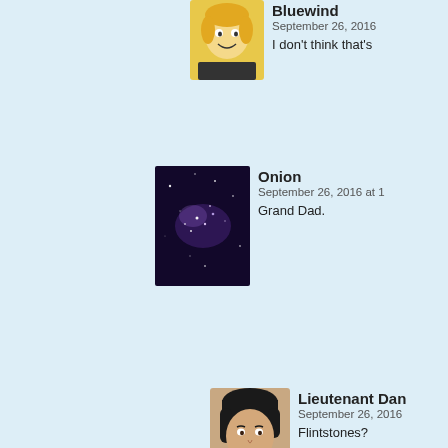Bluewind — September 26, 2016 — I don't think that's
Onion — September 26, 2016 at 1 — Grand Dad.
Lieutenant Dan — September 26, 2016 — Flintstones?
Ana Chronistic — September 26, 2016 at 12:02 am | # — I was gonna say work on the other them down there already
Ana Chronistic — September 26, 2016 at 1